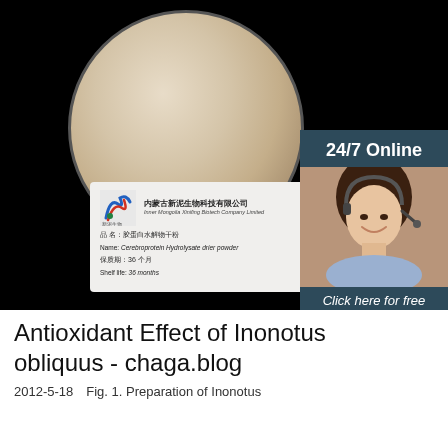[Figure (photo): Product photo showing a petri dish with light beige/cream colored powder (Inonotus obliquus extract) on a black background, with a company label card showing Chinese text and English text: company name Inner Mongolia Xinifing Biotech Company Limited, product name Cerebroprotein Hydrolysate drier powder, shelf life 36 months]
Antioxidant Effect of Inonotus obliquus - chaga.blog
2012-5-18u2002u2002Fig. 1. Preparation of Inonotus